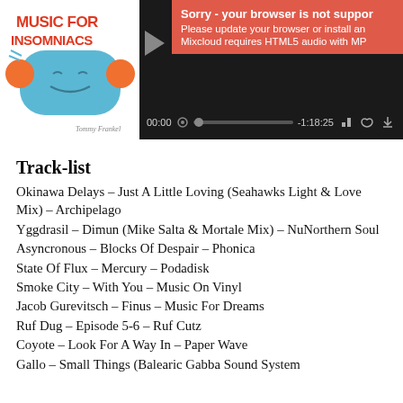[Figure (screenshot): Mixcloud audio player showing 'Music For Insomniacs' with album art (blue cartoon face with headphones on orange/white background with red text 'MUSIC FOR INSOMNIACS'). Player shows error overlay: 'Sorry - your browser is not suppor...' and 'Please update your browser or install an...' and 'Mixcloud requires HTML5 audio with MP...' Playback time shows 00:00 and -1:18:25.]
Track-list
Okinawa Delays – Just A Little Loving (Seahawks Light & Love Mix) – Archipelago
Yggdrasil – Dimun (Mike Salta & Mortale Mix) – NuNorthern Soul
Asyncronous – Blocks Of Despair – Phonica
State Of Flux – Mercury – Podadisk
Smoke City – With You – Music On Vinyl
Jacob Gurevitsch – Finus – Music For Dreams
Ruf Dug – Episode 5-6 – Ruf Cutz
Coyote – Look For A Way In – Paper Wave
Gallo – Small Things (Balearic Gabba Sound System Mix) – [continues]